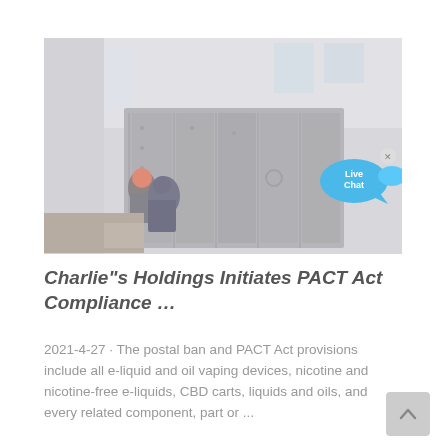[Figure (photo): Workers in industrial environment with large metal equipment/machinery in a warehouse or factory setting. Two workers in the foreground. Image is faded/greyed out. A Live Chat bubble overlay appears in the top-right corner of the image.]
Charlie"s Holdings Initiates PACT Act Compliance …
2021-4-27 · The postal ban and PACT Act provisions include all e-liquid and oil vaping devices, nicotine and nicotine-free e-liquids, CBD carts, liquids and oils, and every related component, part or ...